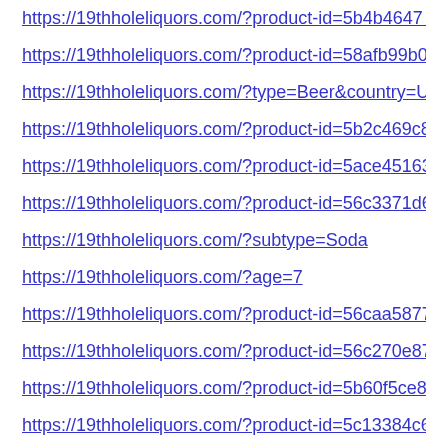https://19thholeliquors.com/?product-id=5b4b4647 8f38…
https://19thholeliquors.com/?product-id=58afb99b01ff9…
https://19thholeliquors.com/?type=Beer&country=Unite…
https://19thholeliquors.com/?product-id=5b2c469c8f587…
https://19thholeliquors.com/?product-id=5ace45163313…
https://19thholeliquors.com/?product-id=56c3371d6970…
https://19thholeliquors.com/?subtype=Soda
https://19thholeliquors.com/?age=7
https://19thholeliquors.com/?product-id=56caa5877562…
https://19thholeliquors.com/?product-id=56c270e87562…
https://19thholeliquors.com/?product-id=5b60f5ce8f587…
https://19thholeliquors.com/?product-id=5c13384c61df8…